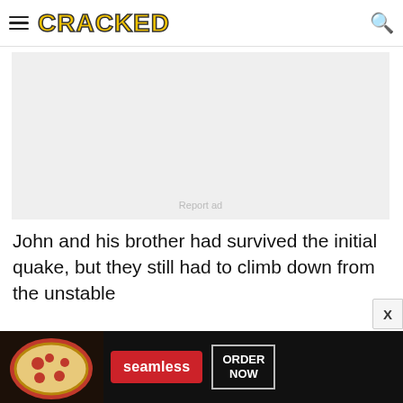CRACKED
[Figure (other): Advertisement placeholder grey box with 'Report ad' label]
John and his brother had survived the initial quake, but they still had to climb down from the unstable
[Figure (other): Seamless food delivery advertisement banner with pizza image, seamless logo and ORDER NOW button]